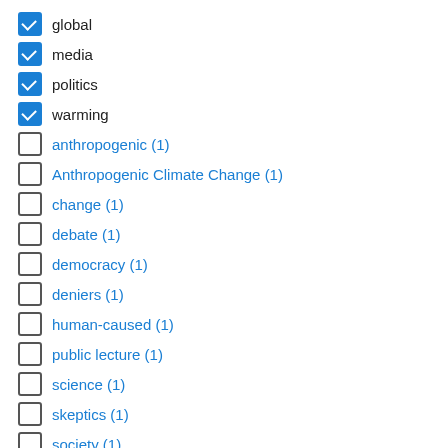global (checked)
media (checked)
politics (checked)
warming (checked)
anthropogenic (1)
Anthropogenic Climate Change (1)
change (1)
debate (1)
democracy (1)
deniers (1)
human-caused (1)
public lecture (1)
science (1)
skeptics (1)
society (1)
FILTER BY DATE:
1999 (1)